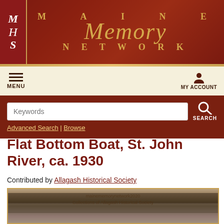[Figure (logo): Maine Memory Network logo with MHS monogram on left and stylized text 'Maine Memory Network' in gold on dark red background]
MENU   MY ACCOUNT
Keywords  Advanced Search | Browse  SEARCH
Flat Bottom Boat, St. John River, ca. 1930
Contributed by Allagash Historical Society
[Figure (photo): Sepia-toned photograph of a flat bottom boat on the St. John River, ca. 1930. Watermark reads 'mainememorynetwork2020 Collections of Allagash Historical Society']